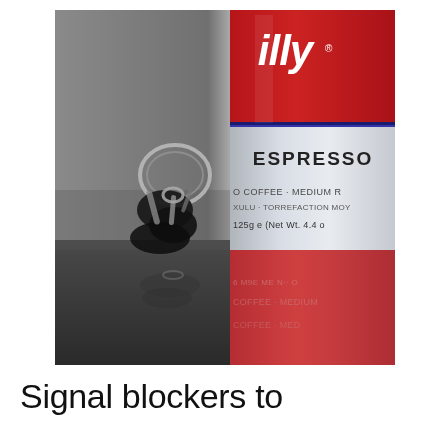[Figure (photo): A photograph showing a set of car keys on a reflective dark surface on the left side, and a red and silver illy Espresso coffee tin on the right side. The tin shows the illy logo in white on red, 'ESPRESSO' text, partial text reading 'O COFFEE - MEDIUM', 'XULU - TORREFACTION MOY', '125g e (Net Wt. 4.4 o'. The bottom portion shows a reflection of the can.]
Signal blockers to